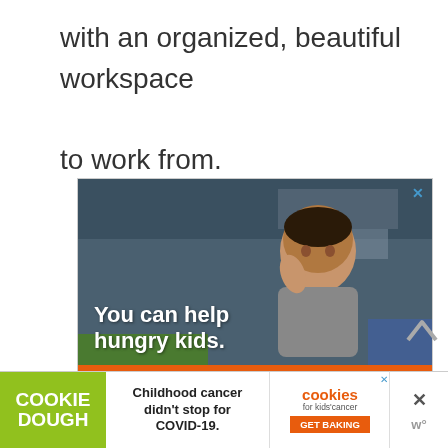with an organized, beautiful workspace to work from.
[Figure (photo): Advertisement for No Kid Hungry charity showing a young child eating, with text 'You can help hungry kids.' and a 'Learn How' button on an orange footer with No Kid Hungry logo.]
[Figure (photo): Cookie Dough advertisement banner: 'Childhood cancer didn't stop for COVID-19.' with Cookie Dough logo on green background and Cookies for Kids Cancer logo with GET BAKING button.]